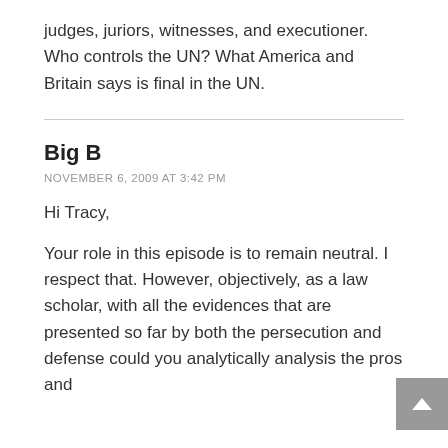judges, juriors, witnesses, and executioner. Who controls the UN? What America and Britain says is final in the UN.
Big B
NOVEMBER 6, 2009 AT 3:42 PM
Hi Tracy,
Your role in this episode is to remain neutral. I respect that. However, objectively, as a law scholar, with all the evidences that are presented so far by both the persecution and defense could you analytically analysis the pros and